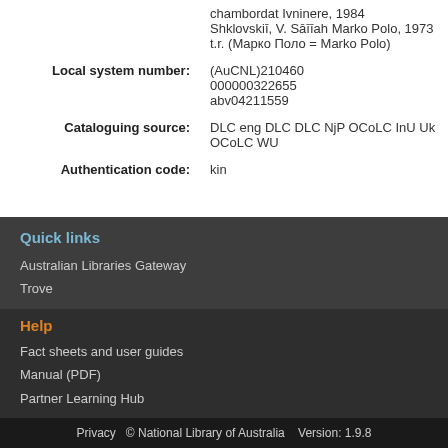| Local system number: | (AuCNL)210460
000000322655
abv04211559 |
| Cataloguing source: | DLC eng DLC DLC NjP OCoLC InU Uk OCoLC WU |
| Authentication code: | kin |
Quick links
Australian Libraries Gateway
Trove
Help
Fact sheets and user guides
Manual (PDF)
Partner Learning Hub
Privacy  © National Library of Australia  Version: 1.9.8